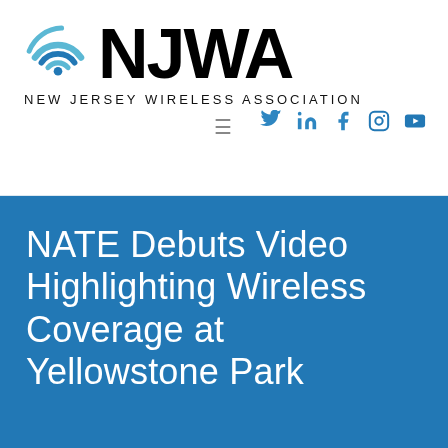[Figure (logo): NJWA - New Jersey Wireless Association logo with circular wireless signal icon and bold NJWA text]
NEW JERSEY WIRELESS ASSOCIATION
[Figure (infographic): Social media icons: Twitter, LinkedIn, Facebook, Instagram, YouTube in blue]
NATE Debuts Video Highlighting Wireless Coverage at Yellowstone Park